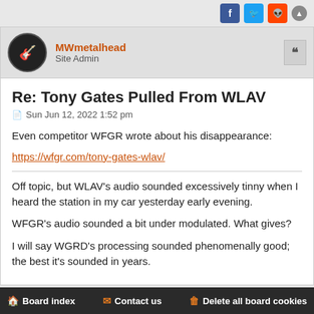Social share icons and scroll-up button
MWmetalhead
Site Admin
Re: Tony Gates Pulled From WLAV
Sun Jun 12, 2022 1:52 pm
Even competitor WFGR wrote about his disappearance:
https://wfgr.com/tony-gates-wlav/
Off topic, but WLAV's audio sounded excessively tinny when I heard the station in my car yesterday early evening.
WFGR's audio sounded a bit under modulated. What gives?
I will say WGRD's processing sounded phenomenally good; the best it's sounded in years.
Board index   Contact us   Delete all board cookies